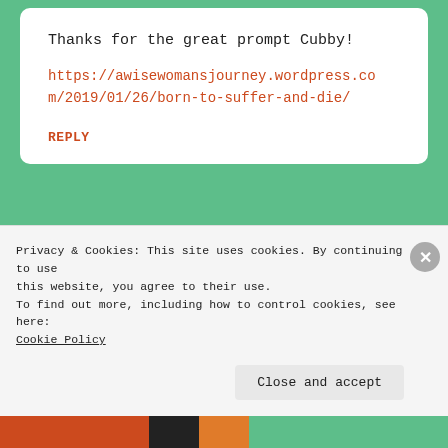Thanks for the great prompt Cubby!
https://awisewomansjourney.wordpress.com/2019/01/26/born-to-suffer-and-die/
REPLY
Cubby  January 26, 2019 — 2:38 pm
Privacy & Cookies: This site uses cookies. By continuing to use this website, you agree to their use.
To find out more, including how to control cookies, see here:
Cookie Policy
Close and accept